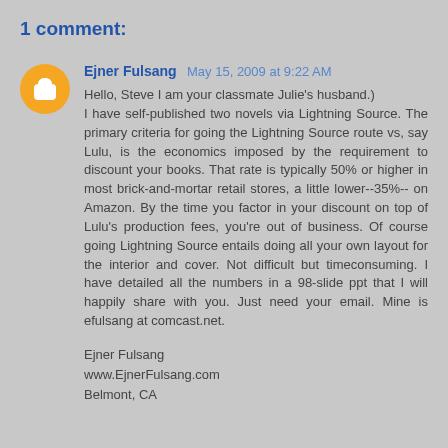1 comment:
Ejner Fulsang  May 15, 2009 at 9:22 AM
Hello, Steve I am your classmate Julie's husband.) I have self-published two novels via Lightning Source. The primary criteria for going the Lightning Source route vs, say Lulu, is the economics imposed by the requirement to discount your books. That rate is typically 50% or higher in most brick-and-mortar retail stores, a little lower--35%-- on Amazon. By the time you factor in your discount on top of Lulu's production fees, you're out of business. Of course going Lightning Source entails doing all your own layout for the interior and cover. Not difficult but timeconsuming. I have detailed all the numbers in a 98-slide ppt that I will happily share with you. Just need your email. Mine is efulsang at comcast.net.

Ejner Fulsang
www.EjnerFulsang.com
Belmont, CA